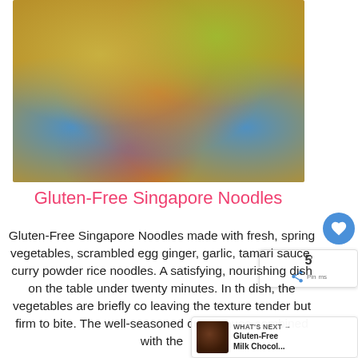[Figure (photo): A bowl of Singapore noodles stir-fry with vegetables including zucchini, red peppers, mushrooms, and green onions on a blue plate]
Gluten-Free Singapore Noodles
Gluten-Free Singapore Noodles made with fresh, spring vegetables, scrambled eggs, ginger, garlic, tamari sauce, curry powder and rice noodles. A satisfying, nourishing dish on the table under twenty minutes. In this dish, the vegetables are briefly cooked, leaving the texture tender but firm to bite. The well-seasoned curry sauce combined with the